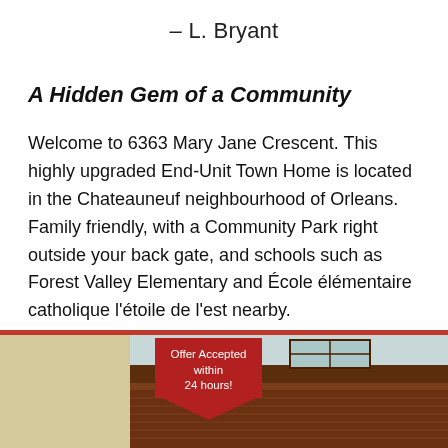– L. Bryant
A Hidden Gem of a Community
Welcome to 6363 Mary Jane Crescent. This highly upgraded End-Unit Town Home is located in the Chateauneuf neighbourhood of Orleans. Family friendly, with a Community Park right outside your back gate, and schools such as Forest Valley Elementary and École élémentaire catholique l'étoile de l'est nearby.
[Figure (photo): Photo of a townhome exterior with a red bar at top, a cream/beige section on the left with a red arrow badge reading 'Offer Accepted within 24 hours!', and a house roofline and siding visible on the right.]